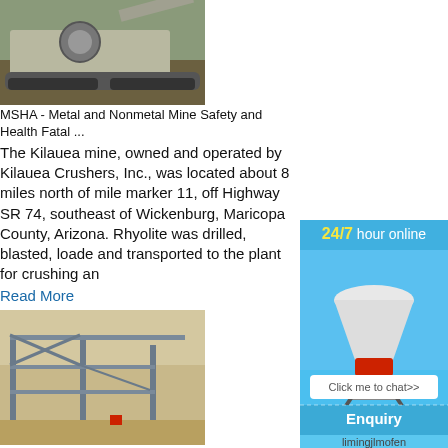[Figure (photo): Mining/crushing machinery on tracks in a quarry or outdoor setting]
MSHA - Metal and Nonmetal Mine Safety and Health Fatal ...
The Kilauea mine, owned and operated by Kilauea Crushers, Inc., was located about 8 miles north of mile marker 11, off Highway SR 74, southeast of Wickenburg, Maricopa County, Arizona. Rhyolite was drilled, blasted, loaded and transported to the plant for crushing an
Read More
[Figure (photo): Industrial steel structure/framework at a mining or quarry site with sandy terrain in background]
KILAUEA CRUSHERS Jobs (Now Hiring) Near M Heavy Equipment Operator. Kilauea Crushe AZ. Quick Apply. Pay. $18 to $24 Hourly. Ty
[Figure (other): Advertisement sidebar: 24/7 hour online chat with cone crusher image, Click me to chat>> button, Enquiry section, limingjlmofen text]